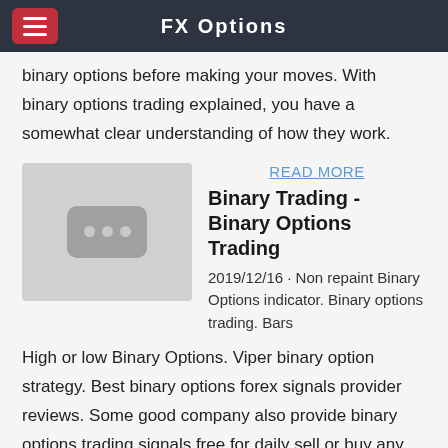FX Options
binary options before making your moves. With binary options trading explained, you have a somewhat clear understanding of how they work.
READ MORE
[Figure (illustration): Placeholder image with three dots icon on grey background]
Binary Trading - Binary Options Trading
2019/12/16 · Non repaint Binary Options indicator. Binary options trading. Bars High or low Binary Options. Viper binary option strategy. Best binary options forex signals provider reviews. Some good company also provide binary options trading signals free for daily sell or buy any pair with complete time frame chart trad. You can check our binary options